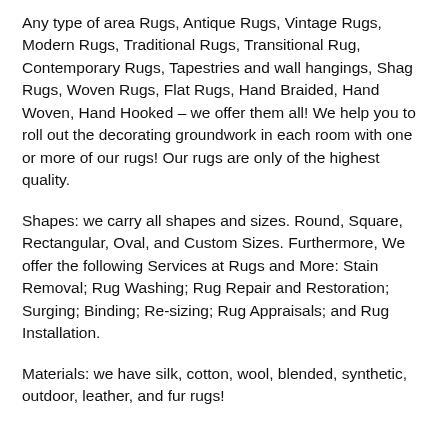Any type of area Rugs, Antique Rugs, Vintage Rugs, Modern Rugs, Traditional Rugs, Transitional Rug, Contemporary Rugs, Tapestries and wall hangings, Shag Rugs, Woven Rugs, Flat Rugs, Hand Braided, Hand Woven, Hand Hooked – we offer them all! We help you to roll out the decorating groundwork in each room with one or more of our rugs! Our rugs are only of the highest quality.
Shapes: we carry all shapes and sizes. Round, Square, Rectangular, Oval, and Custom Sizes. Furthermore, We offer the following Services at Rugs and More: Stain Removal; Rug Washing; Rug Repair and Restoration; Surging; Binding; Re-sizing; Rug Appraisals; and Rug Installation.
Materials: we have silk, cotton, wool, blended, synthetic, outdoor, leather, and fur rugs!